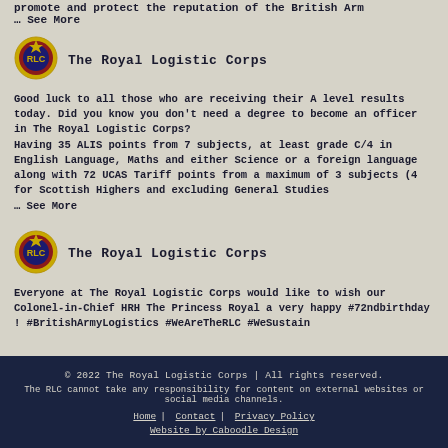promote and protect the reputation of the British Arm
… See More
[Figure (logo): The Royal Logistic Corps badge/crest circular emblem with red and gold design]
The Royal Logistic Corps
Good luck to all those who are receiving their A level results today. Did you know you don't need a degree to become an officer in The Royal Logistic Corps?
Having 35 ALIS points from 7 subjects, at least grade C/4 in English Language, Maths and either Science or a foreign language along with 72 UCAS Tariff points from a maximum of 3 subjects (4 for Scottish Highers and excluding General Studies
… See More
[Figure (logo): The Royal Logistic Corps badge/crest circular emblem with red and gold design]
The Royal Logistic Corps
Everyone at The Royal Logistic Corps would like to wish our Colonel-in-Chief HRH The Princess Royal a very happy #72ndbirthday ! #BritishArmyLogistics #WeAreTheRLC #WeSustain
© 2022 The Royal Logistic Corps | All rights reserved.
The RLC cannot take any responsibility for content on external websites or social media channels.
Home | Contact | Privacy Policy
Website by Caboodle Design